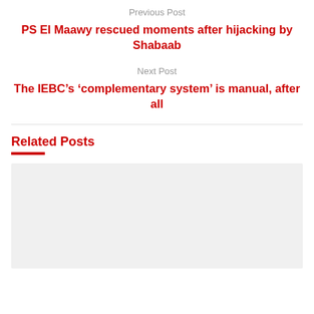Previous Post
PS El Maawy rescued moments after hijacking by Shabaab
Next Post
The IEBC’s ‘complementary system’ is manual, after all
Related Posts
[Figure (photo): Light gray placeholder thumbnail for a related post image]